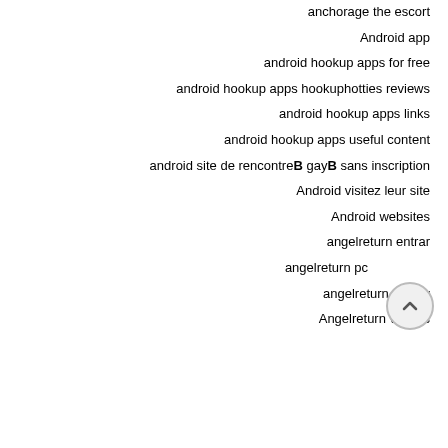anchorage the escort
Android app
android hookup apps for free
android hookup apps hookuphotties reviews
android hookup apps links
android hookup apps useful content
android site de rencontreB gayB sans inscription
Android visitez leur site
Android websites
angelreturn entrar
angelreturn pc
angelreturn review
Angelreturn visitors